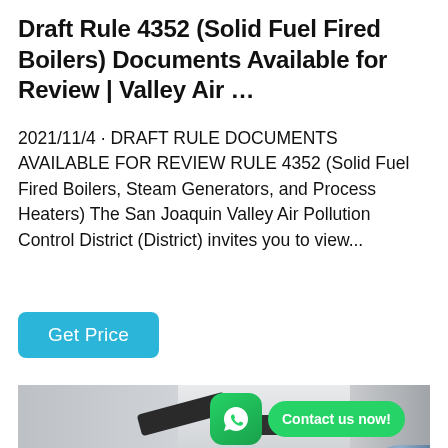Draft Rule 4352 (Solid Fuel Fired Boilers) Documents Available for Review | Valley Air …
2021/11/4 · DRAFT RULE DOCUMENTS AVAILABLE FOR REVIEW RULE 4352 (Solid Fuel Fired Boilers, Steam Generators, and Process Heaters) The San Joaquin Valley Air Pollution Control District (District) invites you to view...
[Figure (other): A cyan/teal rounded rectangle button labeled 'Get Price']
[Figure (photo): Industrial boiler room interior showing large black pipes, a blue cylindrical boiler, yellow and red piping, a metal ladder/catwalk, and a WhatsApp 'Contact us now!' overlay button in green.]